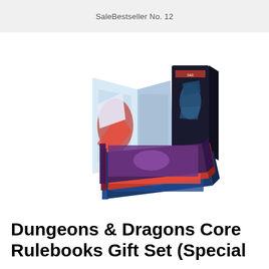SaleBestseller No. 12
[Figure (photo): Product photo of Dungeons & Dragons Core Rulebooks Gift Set showing a DM screen with red dragon artwork, a black slipcase with blue dragon, and three hardcover rulebooks fanned out]
Dungeons & Dragons Core Rulebooks Gift Set (Special